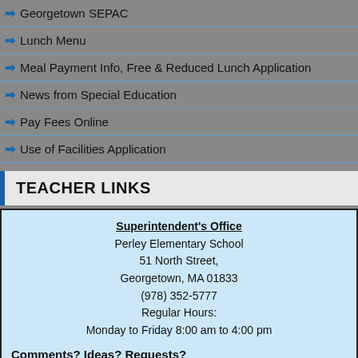Georgetown SEPAC
Lunch Menu
Meal Payment Info, Free & Reduced Lunch Application
News from Special Education
Pay Fees Online
Use of Facilities Application
TEACHER LINKS
Superintendent's Office
Perley Elementary School
51 North Street,
Georgetown, MA 01833
(978) 352-5777
Regular Hours:
Monday to Friday 8:00 am to 4:00 pm
Comments? Ideas? Requests?
Speak Up!